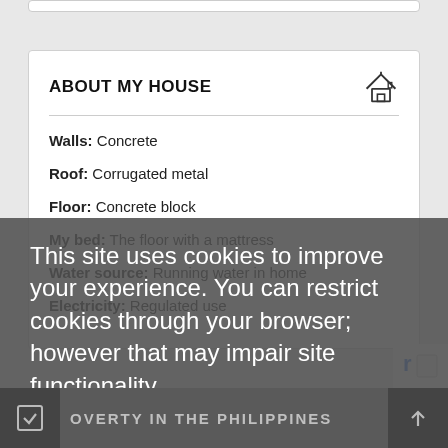ABOUT MY HOUSE
Walls: Concrete
Roof: Corrugated metal
Floor: Concrete block
My bed: The floor with a mattress
Water source: Running water in home
Electricity: Regulated use
This site uses cookies to improve your experience. You can restrict cookies through your browser; however that may impair site functionality.
+ READ MORE
GOT IT
OVERTY IN THE PHILIPPINES